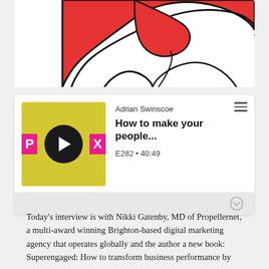[Figure (illustration): Cartoon illustration showing a hand or figure with red and white colors against a white background, partially cropped]
[Figure (screenshot): Podcast player card showing album art for a show, with play button. Author: Adrian Swinscoe. Title: How to make your people... Episode E282, duration 40:49. Pocket Casts interface with hamburger menu icon.]
Today’s interview is with Nikki Gatenby, MD of Propellernet, a multi-award winning Brighton-based digital marketing agency that operates globally and the author a new book: Superengaged: How to transform business performance by